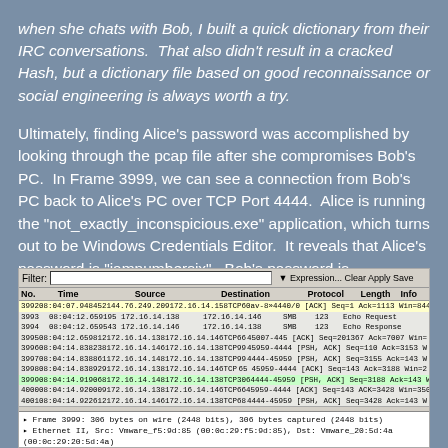when she chats with Bob, I built a quick dictionary from their IRC conversations.  That also didn't result in a cracked Hash, but a dictionary file based on good reconnaissance or social engineering is always worth a try.
Ultimately, finding Alice's password was accomplished by looking through the pcap file after she compromises Bob's PC.  In Frame 3999, we can see a connection from Bob's PC back to Alice's PC over TCP Port 4444.  Alice is running the "not_exactly_inconspicious.exe" application, which turns out to be Windows Credentials Editor.  It reveals that Alice's password is "iamnumbersix".  Bob's password is "Carol_is_my_favorite", and Alice isn't very happy about that.
[Figure (screenshot): Wireshark network packet capture screenshot showing Frame 3999 with TCP port 4444 connection details. The packet list shows frames around 3993-4001, with Frame 3999 selected showing 306 bytes on TCP port 4444-45959. The detail pane shows Frame, Ethernet, Internet Protocol, and Transmission Control Protocol layers with Source Port 4444, Destination Port 45959, Stream Index 1157, TCP Segment Len 240, Sequence number 3188.]